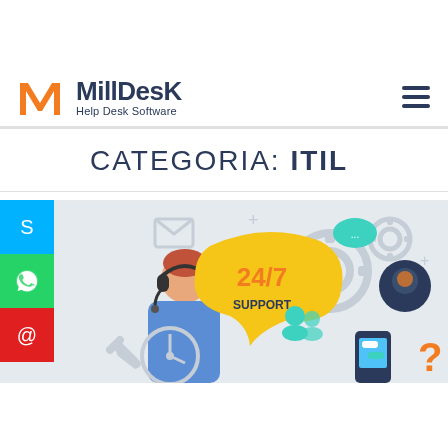[Figure (logo): MillDesk Help Desk Software logo with orange M icon and dark blue text]
CATEGORIA: ITIL
[Figure (illustration): Help desk / customer support illustration showing a support agent with headset, 24/7 support speech bubble, gear icons, user icons, and a head with brain icon on a light grey background]